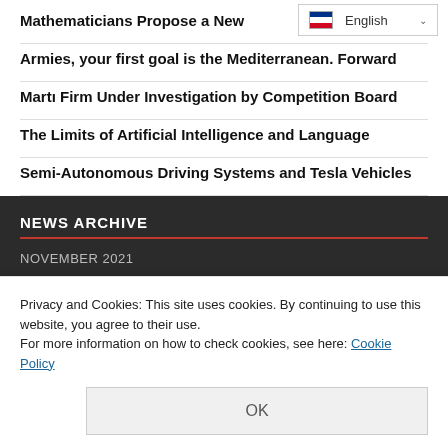Mathematicians Propose a New
[Figure (screenshot): Language selector dropdown showing English with flag icon and chevron]
Armies, your first goal is the Mediterranean. Forward
Martı Firm Under Investigation by Competition Board
The Limits of Artificial Intelligence and Language
Semi-Autonomous Driving Systems and Tesla Vehicles
NEWS ARCHIVE
NOVEMBER 2021
Privacy and Cookies: This site uses cookies. By continuing to use this website, you agree to their use.
For more information on how to check cookies, see here: Cookie Policy
OK